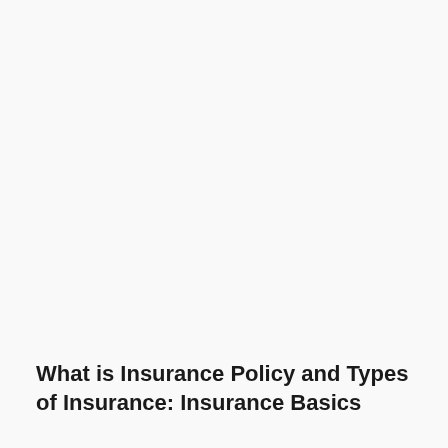What is Insurance Policy and Types of Insurance: Insurance Basics